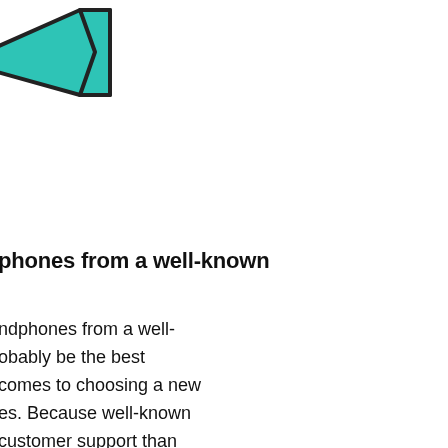[Figure (illustration): A teal/turquoise arrow or ribbon banner shape pointing left, with a dark outline, positioned in the upper-left corner of the page. Only partially visible — cropped at the left and top edges.]
phones from a well-known
ndphones from a well-known brand will probably be the best choice when it comes to choosing a new pair of headphones. Because well-known brands offer better customer support than